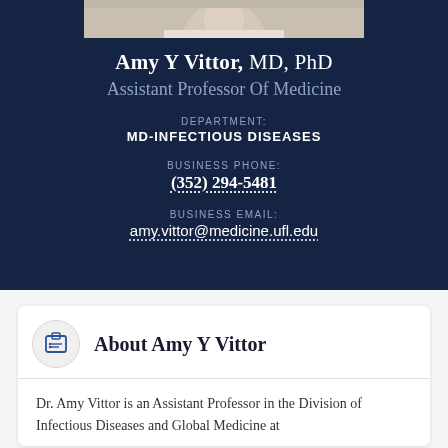[Figure (photo): Partial photo of Amy Y Vittor at the top of profile card]
Amy Y Vittor, MD, PhD
Assistant Professor Of Medicine
DEPARTMENT:
MD-INFECTIOUS DISEASES
BUSINESS PHONE:
(352) 294-5481
BUSINESS EMAIL:
amy.vittor@medicine.ufl.edu
About Amy Y Vittor
Dr. Amy Vittor is an Assistant Professor in the Division of Infectious Diseases and Global Medicine at